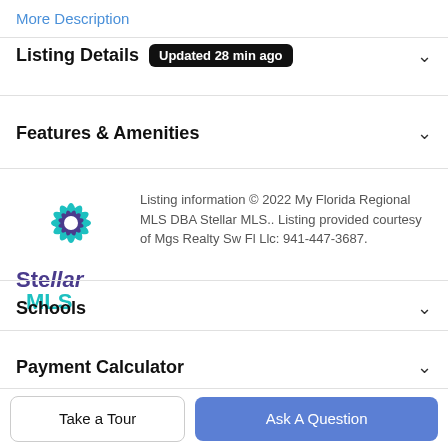More Description
Listing Details  Updated 28 min ago
Features & Amenities
[Figure (logo): Stellar MLS logo — star burst icon in teal and purple, with 'Stellar MLS' text below]
Listing information © 2022 My Florida Regional MLS DBA Stellar MLS.. Listing provided courtesy of Mgs Realty Sw Fl Llc: 941-447-3687.
Schools
Payment Calculator
Contact Agent
Take a Tour
Ask A Question